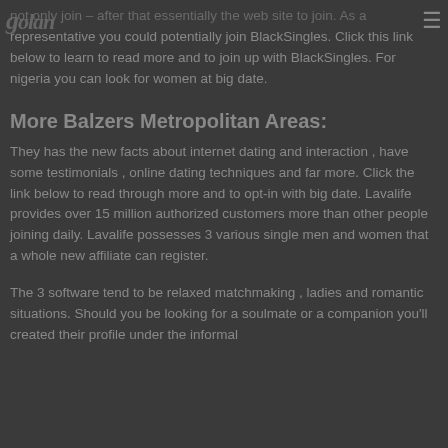golan [hamburger menu icon]
not only join – after that essentially the web site to join. As a representative you could potentially join BlackSingles. Click this link below to learn to read more and to join up with BlackSingles. For nigeria you can look for women at big date.
More Balzers Metropolitan Areas:
They has the new facts about internet dating and interaction , have some testimonials , online dating techniques and far more. Click the link below to read through more and to opt-in with big date. Lavalife provides over 15 million authorized customers more than other people joining daily. Lavalife possesses 3 various single men and women that a whole new affiliate can register.
The 3 software tend to be relaxed matchmaking , ladies and romantic situations. Should you be looking for a soulmate or a companion you'll created their profile under the informal